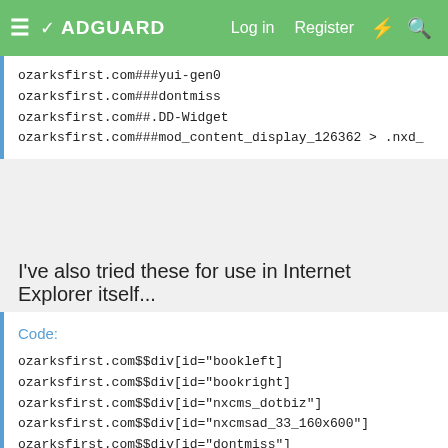≡ ✓ ADGUARD   Log in   Register   ⚡   🔍
ozarksfirst.com###yui-gen0
ozarksfirst.com###dontmiss
ozarksfirst.com##.DD-Widget
ozarksfirst.com###mod_content_display_126362 > .nxd_
I've also tried these for use in Internet Explorer itself...
Code:
ozarksfirst.com$$div[id="bookleft]
ozarksfirst.com$$div[id="bookright]
ozarksfirst.com$$div[id="nxcms_dotbiz"]
ozarksfirst.com$$div[id="nxcmsad_33_160x600"]
ozarksfirst.com$$div[id="dontmiss"]
ozarksfirst.com$$div[class="DD-Widget"]
ozarksfirst.com$$button[id="yui-gen10"]
ozarksfirst.com$$div[class="dotBizLogo"]
ozarksfirst.com$$div[class="dotBizCont"]
ozarksfirst.com$$button[id="yui-gen11"]